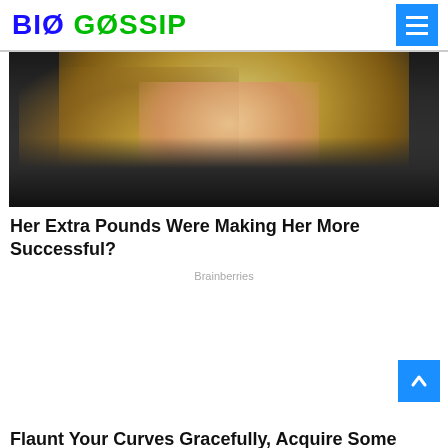BIO GOSSIP
[Figure (photo): Cropped photo of a blonde woman wearing a dark fur-trimmed coat, visible from the chin/neck area downward, with long wavy blonde hair]
Her Extra Pounds Were Making Her More Successful?
Brainberries
Flaunt Your Curves Gracefully, Acquire Some